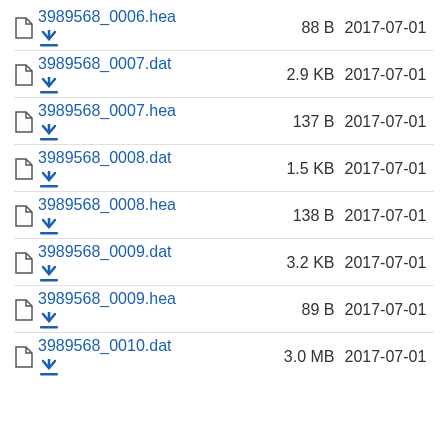3989568_0006.hea  88 B  2017-07-01
3989568_0007.dat  2.9 KB  2017-07-01
3989568_0007.hea  137 B  2017-07-01
3989568_0008.dat  1.5 KB  2017-07-01
3989568_0008.hea  138 B  2017-07-01
3989568_0009.dat  3.2 KB  2017-07-01
3989568_0009.hea  89 B  2017-07-01
3989568_0010.dat  3.0 MB  2017-07-01